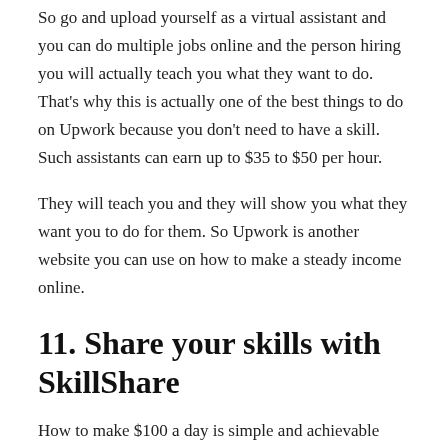So go and upload yourself as a virtual assistant and you can do multiple jobs online and the person hiring you will actually teach you what they want to do. That's why this is actually one of the best things to do on Upwork because you don't need to have a skill. Such assistants can earn up to $35 to $50 per hour.
They will teach you and they will show you what they want you to do for them. So Upwork is another website you can use on how to make a steady income online.
11. Share your skills with SkillShare
How to make $100 a day is simple and achievable with the websites I have shown you. But here is one cool website to make passive income. It is called SkillShare. Like the name suggests you can earn an extra $100 a day by sharing your skill through online courses.